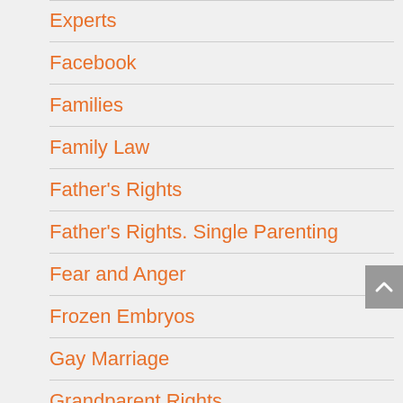Experts
Facebook
Families
Family Law
Father's Rights
Father's Rights. Single Parenting
Fear and Anger
Frozen Embryos
Gay Marriage
Grandparent Rights
Grandparents' Rights
Grandparents' Visitation
Gray Divorce
Grey Divorce